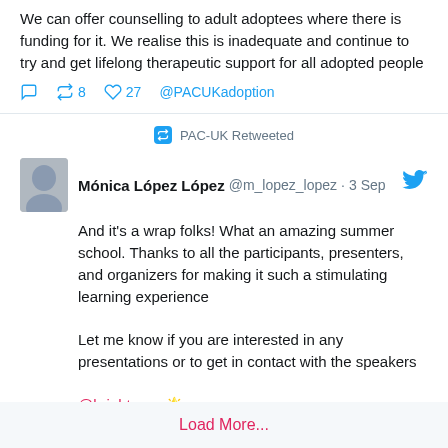We can offer counselling to adult adoptees where there is funding for it. We realise this is inadequate and continue to try and get lifelong therapeutic support for all adopted people
↺ 8  ♡ 27  @PACUKadoption
PAC-UK Retweeted
Mónica López López @m_lopez_lopez · 3 Sep
And it's a wrap folks! What an amazing summer school. Thanks to all the participants, presenters, and organizers for making it such a stimulating learning experience

Let me know if you are interested in any presentations or to get in contact with the speakers

@brighter_e 🌟
↺ 2  ♡ 7  @PACUKadoption
Load More...